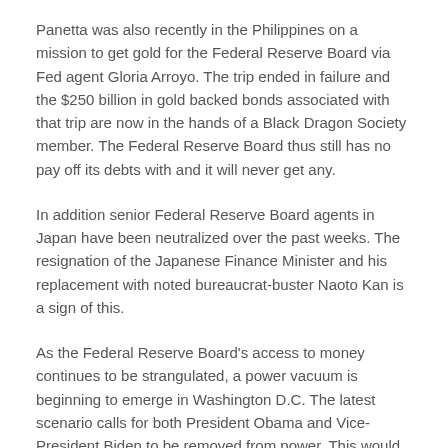Panetta was also recently in the Philippines on a mission to get gold for the Federal Reserve Board via Fed agent Gloria Arroyo. The trip ended in failure and the $250 billion in gold backed bonds associated with that trip are now in the hands of a Black Dragon Society member. The Federal Reserve Board thus still has no pay off its debts with and it will never get any.
In addition senior Federal Reserve Board agents in Japan have been neutralized over the past weeks. The resignation of the Japanese Finance Minister and his replacement with noted bureaucrat-buster Naoto Kan is a sign of this.
As the Federal Reserve Board's access to money continues to be strangulated, a power vacuum is beginning to emerge in Washington D.C. The latest scenario calls for both President Obama and Vice-President Biden to be removed from power. This would leave Nancy Pelosi as President and Hillary Clinton as Vice-President. However, that is also likely to be an interim arrangement.